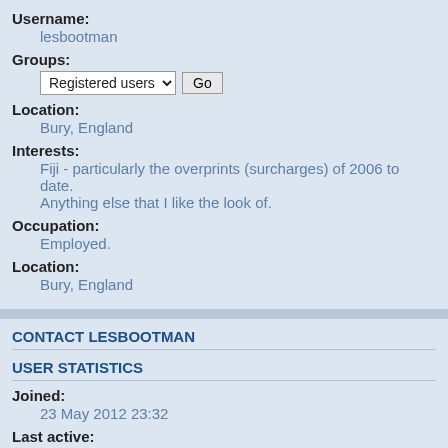Username:
lesbootman
Groups:
Registered users  Go
Location:
Bury, England
Interests:
Fiji - particularly the overprints (surcharges) of 2006 to date. Anything else that I like the look of.
Occupation:
Employed.
Location:
Bury, England
CONTACT LESBOOTMAN
USER STATISTICS
Joined:
23 May 2012 23:32
Last active:
19 Aug 2022 03:34
Total posts:
27750
(0.31% of all posts / 7.42 posts per day)